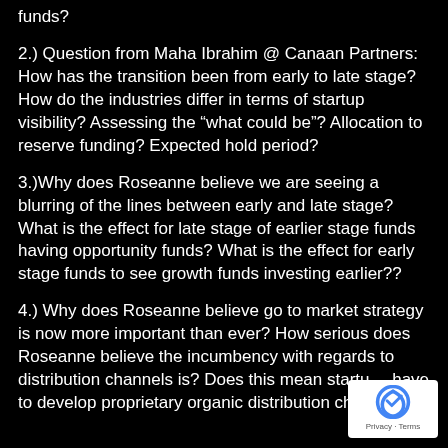funds?
2.) Question from Maha Ibrahim @ Canaan Partners: How has the transition been from early to late stage? How do the industries differ in terms of startup visibility? Assessing the “what could be”? Allocation to reserve funding? Expected hold period?
3.)Why does Roseanne believe we are seeing a blurring of the lines between early and late stage? What is the effect for late stage of earlier stage funds having opportunity funds? What is the effect for early stage funds to see growth funds investing earlier??
4.) Why does Roseanne believe go to market strategy is now more important than ever? How serious does Roseanne believe the incumbency with regards to distribution channels is? Does this mean startups have to develop proprietary organic distribution channels?